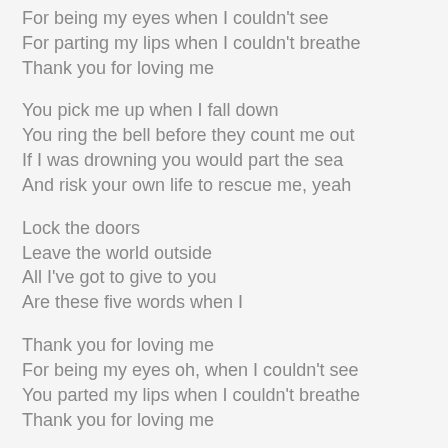For being my eyes when I couldn't see
For parting my lips when I couldn't breathe
Thank you for loving me
You pick me up when I fall down
You ring the bell before they count me out
If I was drowning you would part the sea
And risk your own life to rescue me, yeah
Lock the doors
Leave the world outside
All I've got to give to you
Are these five words when I
Thank you for loving me
For being my eyes oh, when I couldn't see
You parted my lips when I couldn't breathe
Thank you for loving me
When I couldn't fly
Oh, you gave me wings
You parted my lips when I couldn't breathe